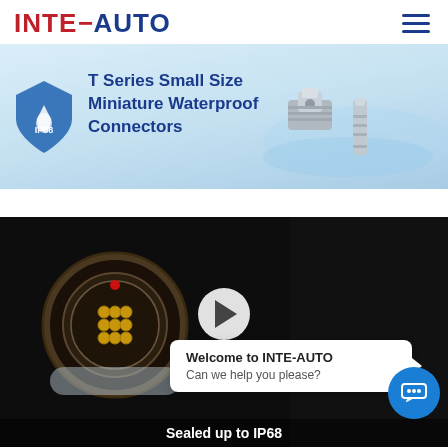INTE-AUTO (logo with hamburger menu)
[Figure (illustration): Banner showing IP68 shield icon and T Series Small Size Miniature Waterproof Connectors text with two metal connectors on blue water background]
[Figure (photo): Video thumbnail on dark background showing a circular multi-pin waterproof connector (open face with 9 gold pins visible, with a red dot marker) and a play button in the center. Below the video is text 'Sealed up to IP68'. A white chat popup reads 'Welcome to INTE-AUTO / Can we help you please?' with a blue chat button circle on the right.]